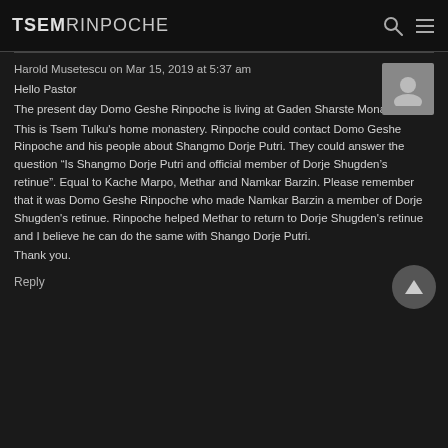TSEM RINPOCHE
Harold Musetescu on Mar 15, 2019 at 5:37 am
Hello Pastor
The present day Domo Geshe Rinpoche is living at Gaden Sharste Monastery.
This is Tsem Tulku’s home monastery. Rinpoche could contact Domo Geshe Rinpoche and his people about Shangmo Dorje Putri. They could answer the question “Is Shangmo Dorje Putri and official member of Dorje Shugden’s retinue”. Equal to Kache Marpo, Methar and Namkar Barzin. Please remember that it was Domo Geshe Rinpoche who made Namkar Barzin a member of Dorje Shugden’s retinue. Rinpoche helped Methar to return to Dorje Shugden’s retinue and I believe he can do the same with Shango Dorje Putri.
Thank you.
Reply